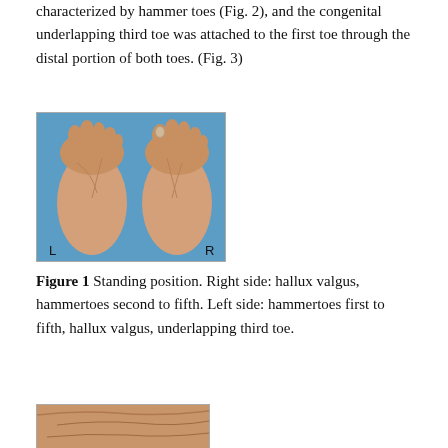characterized by hammer toes (Fig. 2), and the congenital underlapping third toe was attached to the first toe through the distal portion of both toes. (Fig. 3)
[Figure (photo): Clinical photograph showing bilateral feet from dorsal view in standing position. Left foot (labeled L) shows hammertoes first to fifth. Right foot (labeled R) shows hallux valgus and hammertoes second to fifth. Background is blue.]
Figure 1 Standing position. Right side: hallux valgus, hammertoes second to fifth. Left side: hammertoes first to fifth, hallux valgus, underlapping third toe.
[Figure (photo): Partial clinical photograph of a foot, top portion cut off, showing dorsal view with skin texture and toe deformities visible.]